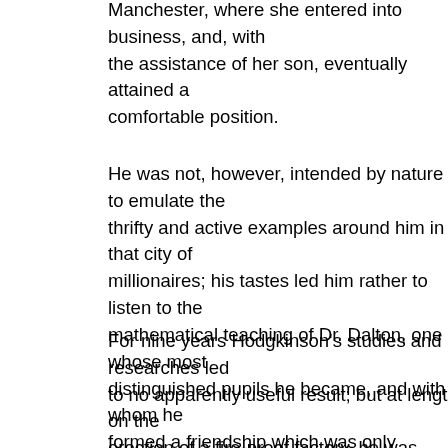Manchester, where she entered into business, and, with the assistance of her son, eventually attained a comfortable position.
He was not, however, intended by nature to emulate the thrifty and active examples around him in that city of millionaires; his tastes led him rather to listen to the mathematical teaching of Dr. Dalton, one of whose most distinguished pupils he became, and with whom he formed a friendship which was only dissolved by the death of Dalton.
For nine years Hodgkinson's studies and researches led to no apparently useful result; but at length, on the erection of a fire-proof factory, he was engaged to make some experiments, which induced the proposition of a new form of cast-iron girder, differing materially from the form hitherto advocated by Tredgold and others. In the cross section of the girder recommended by Hodgkinson, the upper and lower flanges presented sectional areas proportioned to the power of resistance